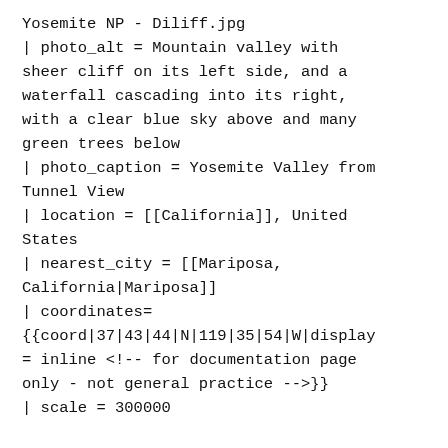Yosemite NP - Diliff.jpg
| photo_alt = Mountain valley with sheer cliff on its left side, and a waterfall cascading into its right, with a clear blue sky above and many green trees below
| photo_caption = Yosemite Valley from Tunnel View
| location = [[California]], United States
| nearest_city = [[Mariposa, California|Mariposa]]
| coordinates= {{coord|37|43|44|N|119|35|54|W|display = inline <!-- for documentation page only - not general practice -->}}
| scale = 300000